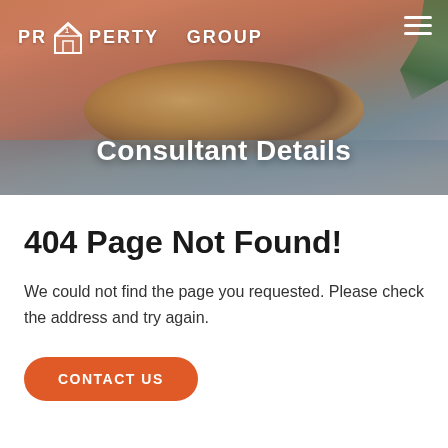[Figure (photo): Hero banner showing a couple in an infinity pool at sunset, with warm orange/pink sky and palm fronds visible. 'Consultant Details' text overlaid in white.]
Consultant Details
404 Page Not Found!
We could not find the page you requested. Please check the address and try again.
CONTACT US